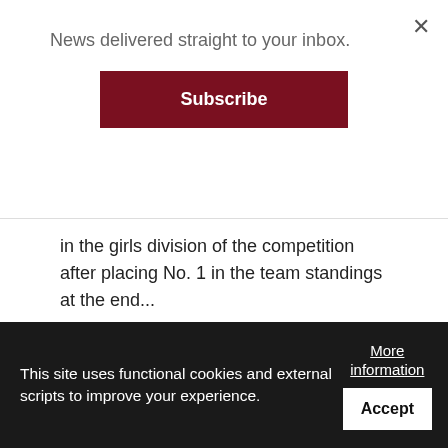News delivered straight to your inbox.
Subscribe
in the girls division of the competition after placing No. 1 in the team standings at the end...
Posted On Dec 19 2017 06:04, By Roselyn Monroyo
[Figure (photo): Two boys playing soccer on a grass field; one in black shirt, one in yellow BINADU STRONG shirt.]
This site uses functional cookies and external scripts to improve your experience.
More information
Accept